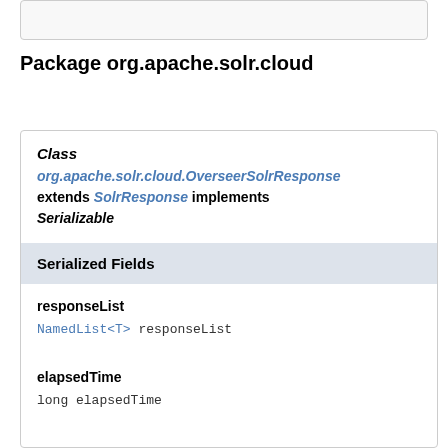Package org.apache.solr.cloud
Class org.apache.solr.cloud.OverseerSolrResponse extends SolrResponse implements Serializable
| Serialized Fields |
| --- |
| responseList | NamedList<T> responseList |
| elapsedTime | long elapsedTime |